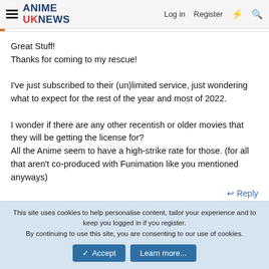ANIME UK NEWS  Log in  Register
Great Stuff!
Thanks for coming to my rescue!

I've just subscribed to their (un)limited service, just wondering what to expect for the rest of the year and most of 2022.

I wonder if there are any other recentish or older movies that they will be getting the license for?
All the Anime seem to have a high-strike rate for those. (for all that aren't co-produced with Funimation like you mentioned anyways)
↩ Reply
This site uses cookies to help personalise content, tailor your experience and to keep you logged in if you register.
By continuing to use this site, you are consenting to our use of cookies.